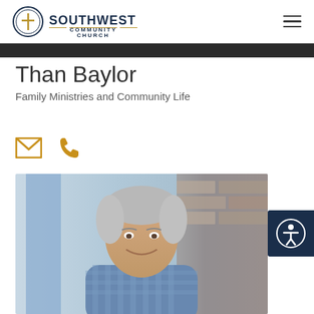Southwest Community Church — navigation header with logo and hamburger menu
Than Baylor
Family Ministries and Community Life
[Figure (infographic): Email icon and phone icon in golden/amber color, representing contact options]
[Figure (photo): Portrait photo of Than Baylor, a middle-aged man with silver/gray hair, smiling, wearing a blue checked shirt, photographed against a blue and brick background]
[Figure (other): Accessibility button widget in dark navy blue with a person/accessibility icon in white circle]